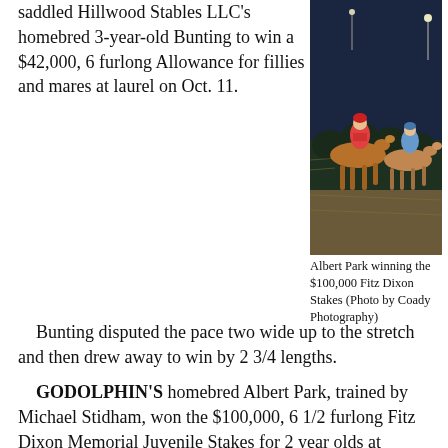saddled Hillwood Stables LLC's homebred 3-year-old Bunting to win a $42,000, 6 furlong Allowance for fillies and mares at laurel on Oct. 11.
[Figure (photo): Two racehorses and jockeys racing at night on a track, with stadium lights visible in the background.]
Albert Park winning the $100,000 Fitz Dixon Stakes (Photo by Coady Photography)
Bunting disputed the pace two wide up to the stretch and then drew away to win by 2 3/4 lengths.
GODOLPHIN'S homebred Albert Park, trained by Michael Stidham, won the $100,000, 6 1/2 furlong Fitz Dixon Memorial Juvenile Stakes for 2 year olds at Presque Isle on Oct. 9.